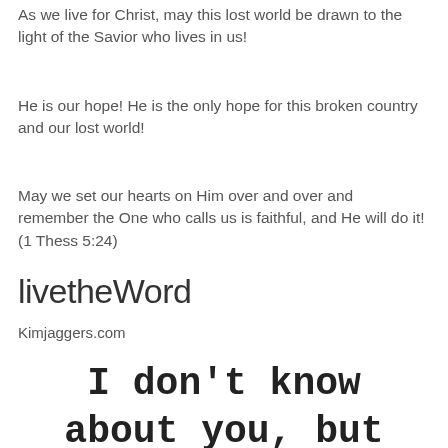As we live for Christ, may this lost world be drawn to the light of the Savior who lives in us!
He is our hope! He is the only hope for this broken country and our lost world!
May we set our hearts on Him over and over and remember the One who calls us is faithful, and He will do it! (1 Thess 5:24)
livetheWord
Kimjaggers.com
I don't know about you, but